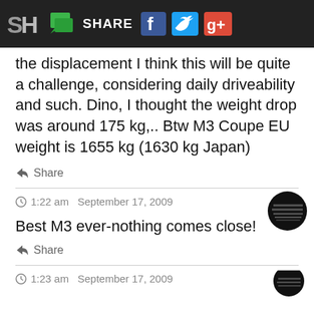SH SHARE [Facebook] [Twitter] [Google+]
the displacement I think this will be quite a challenge, considering daily driveability and such. Dino, I thought the weight drop was around 175 kg,.. Btw M3 Coupe EU weight is 1655 kg (1630 kg Japan)
Share
1:22 am  September 17, 2009
Best M3 ever-nothing comes close!
Share
1:23 am  September 17, 2009